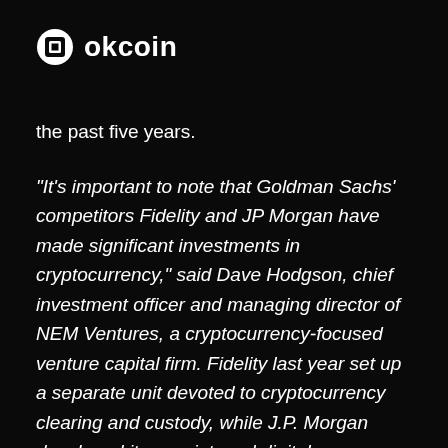[Figure (logo): OKCoin logo: white circle with rounded square cutout icon followed by 'okcoin' text in white]
the past five years.
“It’s important to note that Goldman Sachs’ competitors Fidelity and JP Morgan have made significant investments in cryptocurrency,” said Dave Hodgson, chief investment officer and managing director of NEM Ventures, a cryptocurrency-focused venture capital firm. Fidelity last year set up a separate unit devoted to cryptocurrency clearing and custody, while J.P. Morgan developed its own internal digital currency,